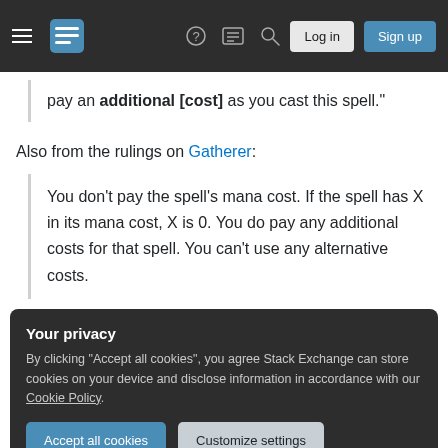Stack Exchange navigation bar with hamburger menu, logo, help, chat, search, Log in, Sign up buttons
pay an additional [cost] as you cast this spell."
Also from the rulings on Gatherer:
You don't pay the spell's mana cost. If the spell has X in its mana cost, X is 0. You do pay any additional costs for that spell. You can't use any alternative costs.
Your privacy
By clicking "Accept all cookies", you agree Stack Exchange can store cookies on your device and disclose information in accordance with our Cookie Policy.
Accept all cookies   Customize settings
Add a comment